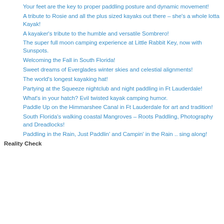Your feet are the key to proper paddling posture and dynamic movement!
A tribute to Rosie and all the plus sized kayaks out there – she's a whole lotta Kayak!
A kayaker's tribute to the humble and versatile Sombrero!
The super full moon camping experience at Little Rabbit Key, now with Sunspots.
Welcoming the Fall in South Florida!
Sweet dreams of Everglades winter skies and celestial alignments!
The world's longest kayaking hat!
Partying at the Squeeze nightclub and night paddling in Ft Lauderdale!
What's in your hatch? Evil twisted kayak camping humor.
Paddle Up on the Himmarshee Canal in Ft Lauderdale for art and tradition!
South Florida's walking coastal Mangroves – Roots Paddling, Photography and Dreadlocks!
Paddling in the Rain, Just Paddlin' and Campin' in the Rain .. sing along!
Reality Check